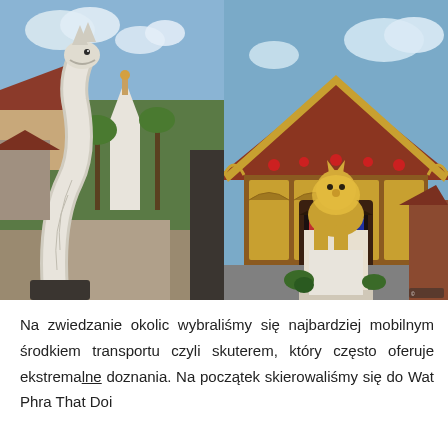[Figure (photo): Two side-by-side photos of Thai Buddhist temples. Left photo shows a white naga (serpent) sculpture in the foreground with temple buildings and a white pagoda in the background, surrounded by palm trees. Right photo shows an ornate golden and red Thai temple facade with a golden lion/singha statue on a pedestal in front, decorated with colorful decorations.]
Na zwiedzanie okolic wybraliśmy się najbardziej mobilnym środkiem transportu czyli skuterem, który często oferuje ekstremalne doznania. Na początek skierowaliśmy się do Wat Phra That Doi